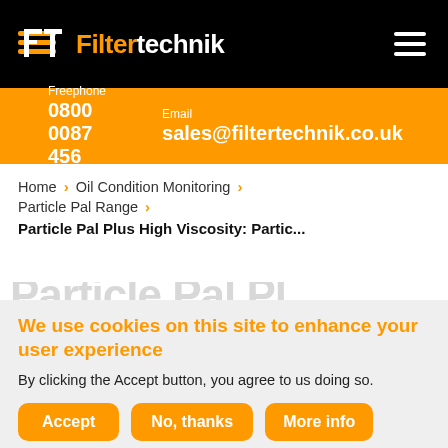Filtertechnik logo and navigation hamburger menu
Freephone 0800 0087 456 Email sales@filtertechnik.co.uk
Home > Oil Condition Monitoring > Particle Pal Range > Particle Pal Plus High Viscosity: Partic...
We use cookies on this site to enhance your user experience
By clicking the Accept button, you agree to us doing so.
Accept | No, thanks | More info